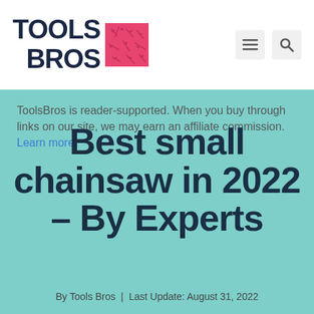[Figure (logo): Tools Bros logo with bold dark navy text 'TOOLS BROS' and a red/pink square icon with tool illustrations]
ToolsBros is reader-supported. When you buy through links on our site, we may earn an affiliate commission. Learn more.
Best small chainsaw in 2022 – By Experts
By Tools Bros  |  Last Update: August 31, 2022